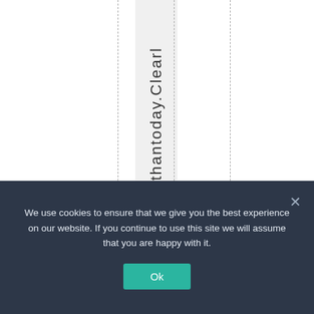[Figure (other): White page area with dashed vertical grid lines and a shaded vertical column containing rotated text reading 'erthantoday.Clearl']
We use cookies to ensure that we give you the best experience on our website. If you continue to use this site we will assume that you are happy with it.